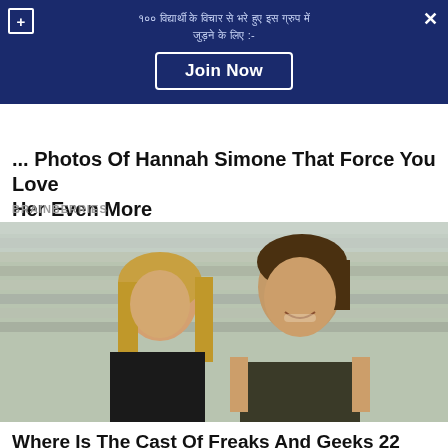[Figure (screenshot): Dark blue advertisement banner with Hindi text and a 'Join Now' button, plus/close icons at corners]
... Photos of Hannah Simone That Force You Love Her Even More
BRAINBERRIES
[Figure (photo): Two young adults sitting in bleachers; a blonde woman looking displeased on the left, a smiling young man on the right wearing a dark sleeveless shirt — appears to be from the TV show Freaks and Geeks]
Where Is The Cast Of Freaks And Geeks 22 Years After